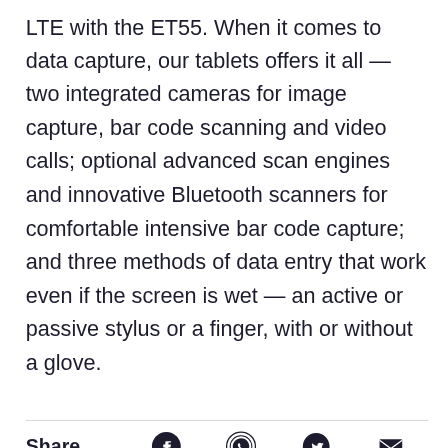LTE with the ET55. When it comes to data capture, our tablets offers it all — two integrated cameras for image capture, bar code scanning and video calls; optional advanced scan engines and innovative Bluetooth scanners for comfortable intensive bar code capture; and three methods of data entry that work even if the screen is wet — an active or passive stylus or a finger, with or without a glove.
Share
[Figure (other): Social share icons row: Facebook, WhatsApp, Twitter, Email]
Description